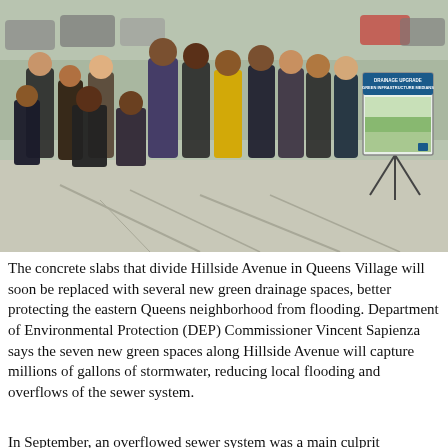[Figure (photo): Group photo of approximately 12 people standing outdoors on a concrete plaza in Queens Village. They stand in two rows. Behind them is a presentation board on a tripod showing 'DRAINAGE UPGRADE GREEN INFRASTRUCTURE MEDIANS' with a rendering of green median plantings. The setting appears to be a parking lot or public plaza. Trees and parked cars are visible in the background.]
The concrete slabs that divide Hillside Avenue in Queens Village will soon be replaced with several new green drainage spaces, better protecting the eastern Queens neighborhood from flooding. Department of Environmental Protection (DEP) Commissioner Vincent Sapienza says the seven new green spaces along Hillside Avenue will capture millions of gallons of stormwater, reducing local flooding and overflows of the sewer system.
In September, an overflowed sewer system was a main culprit...